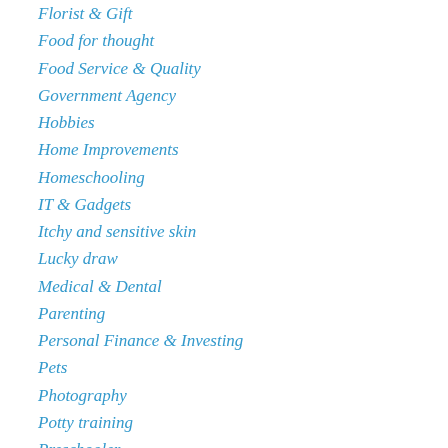Florist & Gift
Food for thought
Food Service & Quality
Government Agency
Hobbies
Home Improvements
Homeschooling
IT & Gadgets
Itchy and sensitive skin
Lucky draw
Medical & Dental
Parenting
Personal Finance & Investing
Pets
Photography
Potty training
Preschooler
Pressure cooker
Recipe for all
Schooling